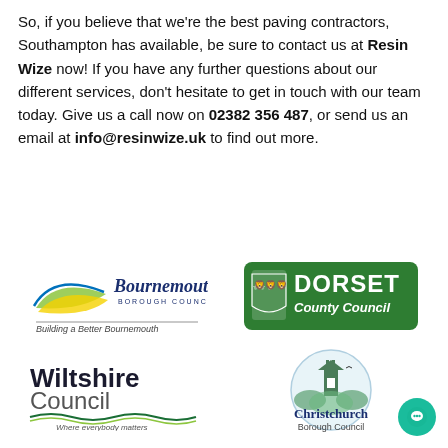So, if you believe that we're the best paving contractors, Southampton has available, be sure to contact us at Resin Wize now! If you have any further questions about our different services, don't hesitate to get in touch with our team today. Give us a call now on 02382 356 487, or send us an email at info@resinwize.uk to find out more.
[Figure (logo): Bournemouth Borough Council logo with swoosh and tagline 'Building a Better Bournemouth']
[Figure (logo): Dorset County Council green badge logo]
[Figure (logo): Wiltshire Council logo with tagline 'Where everybody matters']
[Figure (logo): Christchurch Borough Council circular logo with church tower]